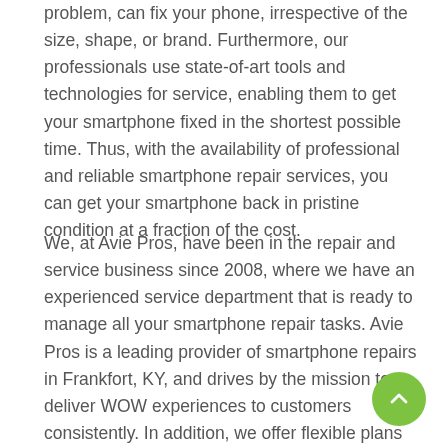problem, can fix your phone, irrespective of the size, shape, or brand. Furthermore, our professionals use state-of-art tools and technologies for service, enabling them to get your smartphone fixed in the shortest possible time. Thus, with the availability of professional and reliable smartphone repair services, you can get your smartphone back in pristine condition at a fraction of the cost.
We, at Avie Pros, have been in the repair and service business since 2008, where we have an experienced service department that is ready to manage all your smartphone repair tasks. Avie Pros is a leading provider of smartphone repairs in Frankfort, KY, and drives by the mission to deliver WOW experiences to customers consistently. In addition, we offer flexible plans to ensure the long life of your smartphones.